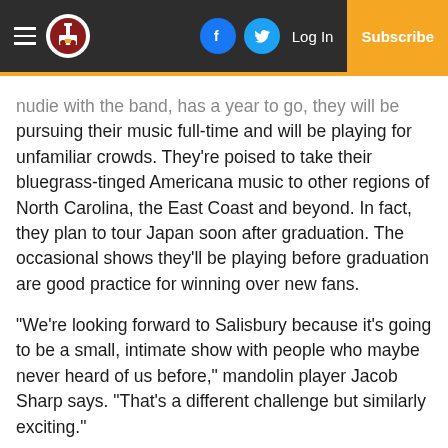Navigation bar with hamburger menu, logo, Facebook and Twitter icons, Log In, and Subscribe button
nudie with the band, has a year to go, they will be pursuing their music full-time and will be playing for unfamiliar crowds. They're poised to take their bluegrass-tinged Americana music to other regions of North Carolina, the East Coast and beyond. In fact, they plan to tour Japan soon after graduation. The occasional shows they'll be playing before graduation are good practice for winning over new fans.
“We’re looking forward to Salisbury because it’s going to be a small, intimate show with people who maybe never heard of us before,” mandolin player Jacob Sharp says. “That’s a different challenge but similarly exciting.”